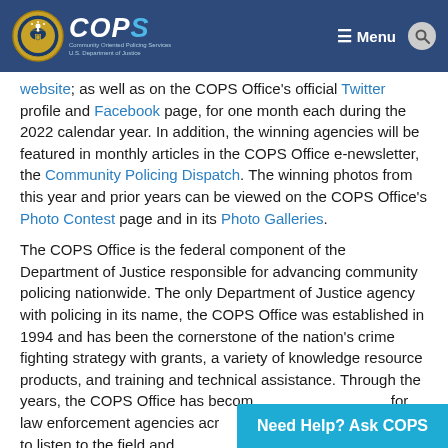COPS — Community Oriented Policing Services, U.S. Department of Justice
website; as well as on the COPS Office's official Twitter profile and Facebook page, for one month each during the 2022 calendar year. In addition, the winning agencies will be featured in monthly articles in the COPS Office e-newsletter, the Community Policing Dispatch. The winning photos from this year and prior years can be viewed on the COPS Office's Photo Contest page and in its Photo Galleries.
The COPS Office is the federal component of the Department of Justice responsible for advancing community policing nationwide. The only Department of Justice agency with policing in its name, the COPS Office was established in 1994 and has been the cornerstone of the nation's crime fighting strategy with grants, a variety of knowledge resource products, and training and technical assistance. Through the years, the COPS Office has become for law enforcement agencies acro continues to listen to the field and